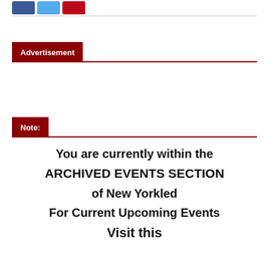[Figure (other): Social sharing buttons: Facebook (blue), Twitter (light blue), Pinterest (red)]
Advertisement
Note:
You are currently within the

ARCHIVED EVENTS SECTION

of New Yorkled

For Current Upcoming Events

Visit this